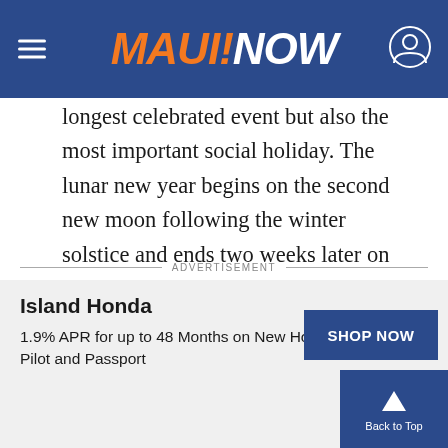MAUI NOW
longest celebrated event but also the most important social holiday. The lunar new year begins on the second new moon following the winter solstice and ends two weeks later on the full moon. Today, the new year is a week-long public holiday so families can reunite and relax together, celebrating a year of hard work and offering wishes of good luck and prosperity in the coming year.
ADVERTISEMENT
Island Honda
1.9% APR for up to 48 Months on New Honda Pilot and Passport
SHOP NOW
Back to Top